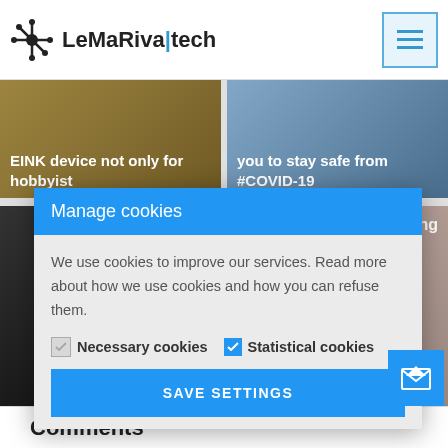LeMaRiva|tech
[Figure (screenshot): Website screenshot showing LeMaRiva|tech blog with cookie consent modal. Two article cards visible at top: 'EINK device not only for hobbyist' and 'you to stay safe from #COVID-19'. A cookie management dialog overlays the page.]
Manage cookies
We use cookies to improve our services. Read more about how we use cookies and how you can refuse them.
Necessary cookies   Statistical cookies
SAVE SETTINGS
Comments